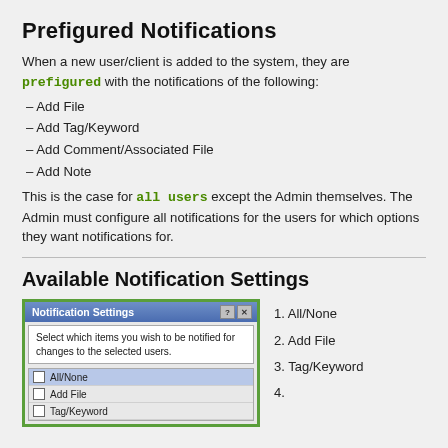Prefigured Notifications
When a new user/client is added to the system, they are prefigured with the notifications of the following:
– Add File
– Add Tag/Keyword
– Add Comment/Associated File
– Add Note
This is the case for all users except the Admin themselves. The Admin must configure all notifications for the users for which options they want notifications for.
Available Notification Settings
[Figure (screenshot): Screenshot of a Notification Settings dialog box showing checkboxes for All/None, Add File, and Tag/Keyword options. The dialog has a blue title bar and a white body with instructional text.]
1. All/None
2. Add File
3. Tag/Keyword
4.